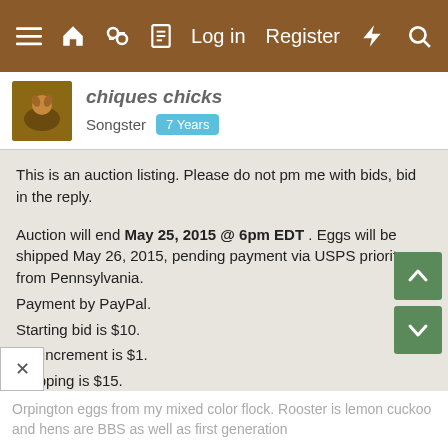≡  🏠  💬  📄     Log in   Register   ⚡   🔍
chiques chicks
Songster   7 Years
This is an auction listing. Please do not pm me with bids, bid in the reply.

Auction will end May 25, 2015 @ 6pm EDT . Eggs will be shipped May 26, 2015, pending payment via USPS priority from Pennsylvania.
Payment by PayPal.
Starting bid is $10.
Bid increment is $1.
Shipping is $15.

Eggs will be collected May 23-25, 2015. I will ship at least 6 and as many as 12 depending on what my hens offer.
Orpington eggs from my mixed color flock. Rooster is lemon cuckoo and hens are BBS as well as first generation